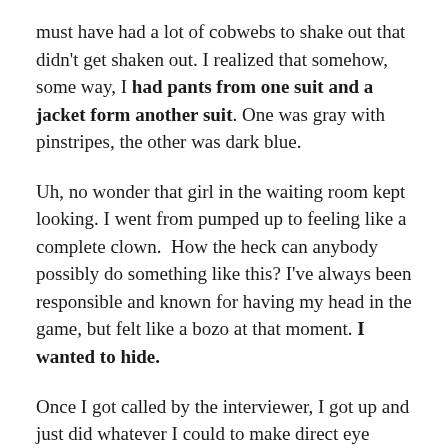must have had a lot of cobwebs to shake out that didn't get shaken out. I realized that somehow, some way, I had pants from one suit and a jacket form another suit. One was gray with pinstripes, the other was dark blue.
Uh, no wonder that girl in the waiting room kept looking. I went from pumped up to feeling like a complete clown.  How the heck can anybody possibly do something like this? I've always been responsible and known for having my head in the game, but felt like a bozo at that moment. I wanted to hide.
Once I got called by the interviewer, I got up and just did whatever I could to make direct eye contact with her the whole time. As we got to the interview